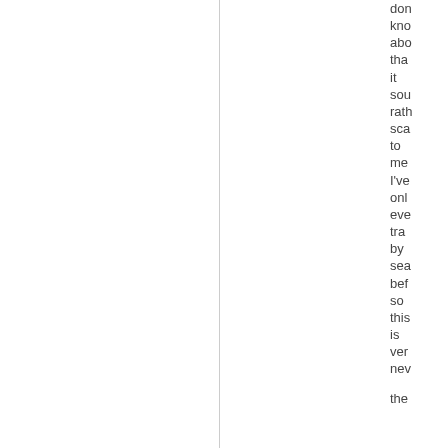don't know about that it sounds rather scary to me I've only ever traveled by sea before so this is very new the